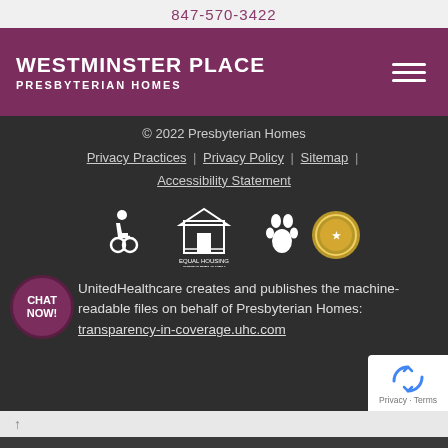847-570-3422
[Figure (logo): Westminster Place Presbyterian Homes logo with white text on purple background and hamburger menu icon]
© 2022 Presbyterian Homes
Privacy Practices | Privacy Policy | Sitemap | Accessibility Statement
[Figure (infographic): Row of compliance icons: wheelchair accessibility, equal housing opportunity, pet-friendly paw prints, and a gold seal/award badge]
UnitedHealthcare creates and publishes the machine-readable files on behalf of Presbyterian Homes: transparency-in-coverage.uhc.com
[Figure (other): reCAPTCHA widget in bottom-right corner showing rotating arrows logo and Privacy - Terms text]
↑